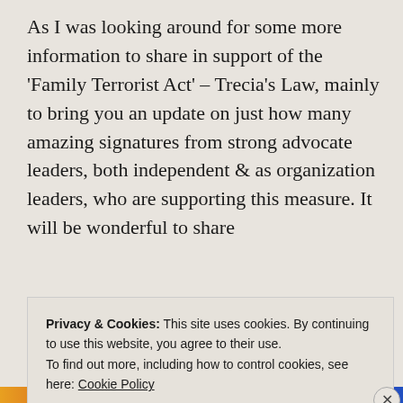As I was looking around for some more information to share in support of the 'Family Terrorist Act' – Trecia's Law, mainly to bring you an update on just how many amazing signatures from strong advocate leaders, both independent & as organization leaders, who are supporting this measure. It will be wonderful to share
Continue reading →
Privacy & Cookies: This site uses cookies. By continuing to use this website, you agree to their use. To find out more, including how to control cookies, see here: Cookie Policy
Close and accept